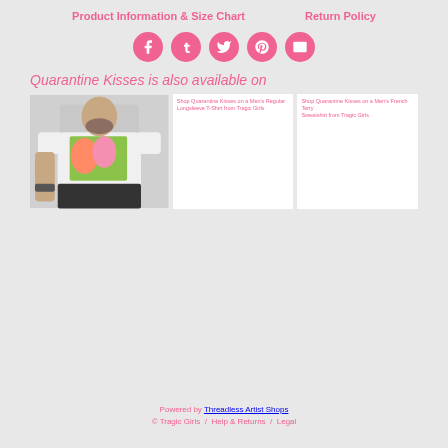Product Information & Size Chart    Return Policy
[Figure (other): Social media share buttons: Facebook, Tumblr, Twitter, Pinterest, Email — pink circular icons]
Quarantine Kisses is also available on
[Figure (photo): Man wearing white t-shirt with colorful art print showing two figures kissing]
Shop Quarantine Kisses on a Men's Regular Longsleeve T-Shirt from Tragic Girls
Shop Quarantine Kisses on a Men's French Terry Sweatshirt from Tragic Girls
Powered by Threadless Artist Shops
© Tragic Girls  /  Help & Returns  /  Legal